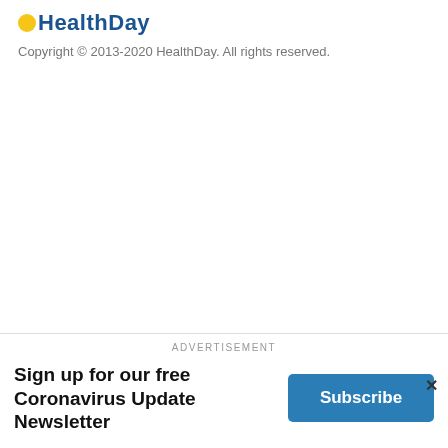[Figure (logo): HealthDay logo with yellow sun circle and blue text]
Copyright © 2013-2020 HealthDay. All rights reserved.
ADVERTISEMENT
Sign up for our free Coronavirus Update Newsletter
Subscribe